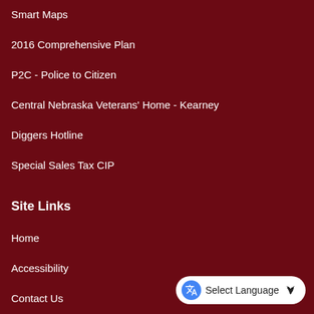Smart Maps
2016 Comprehensive Plan
P2C - Police to Citizen
Central Nebraska Veterans' Home - Kearney
Diggers Hotline
Special Sales Tax CIP
Site Links
Home
Accessibility
Contact Us
Copyright Notices
Employee Intranet